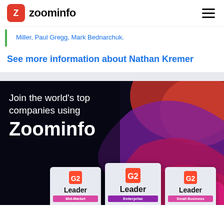ZoomInfo
Miller, Paul Gregg, Mark Bednarchuk.
See more information about Nathan Kremer
[Figure (screenshot): ZoomInfo promotional banner with dark background, colorful abstract wave shapes in red, purple, and magenta, text reading 'Join the world's top companies using Zoominfo', and three G2 Leader badges: Mid-Market, Enterprise, Small Business]